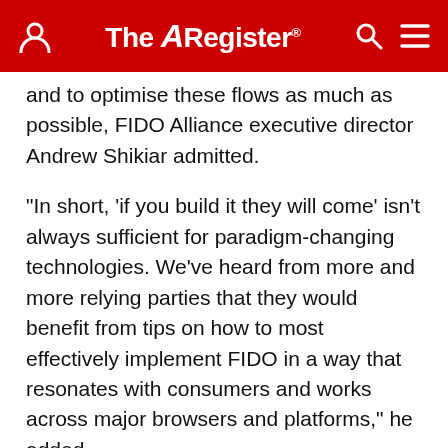The Register
and to optimise these flows as much as possible, FIDO Alliance executive director Andrew Shikiar admitted.
"In short, 'if you build it they will come' isn't always sufficient for paradigm-changing technologies. We've heard from more and more relying parties that they would benefit from tips on how to most effectively implement FIDO in a way that resonates with consumers and works across major browsers and platforms," he added.
In response, the FIDO Alliance launched a task force centred around the user experience, enjoying input from FIDO users including Facebook, Google, eBay,